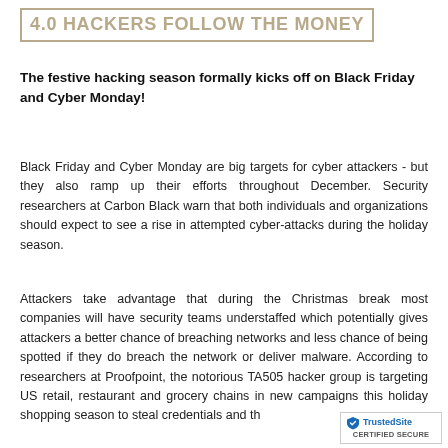4.0 HACKERS FOLLOW THE MONEY
The festive hacking season formally kicks off on Black Friday and Cyber Monday!
Black Friday and Cyber Monday are big targets for cyber attackers - but they also ramp up their efforts throughout December. Security researchers at Carbon Black warn that both individuals and organizations should expect to see a rise in attempted cyber-attacks during the holiday season.
Attackers take advantage that during the Christmas break most companies will have security teams understaffed which potentially gives attackers a better chance of breaching networks and less chance of being spotted if they do breach the network or deliver malware. According to researchers at Proofpoint, the notorious TA505 hacker group is targeting US retail, restaurant and grocery chains in new campaigns this holiday shopping season to steal credentials and th…